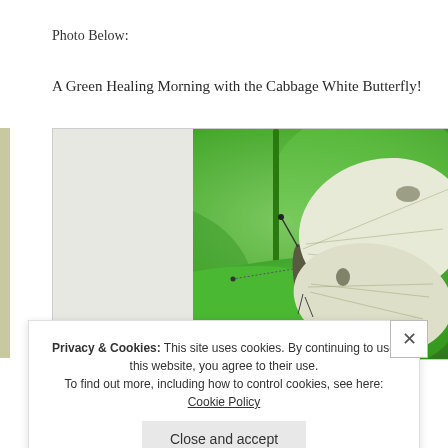Photo Below:
A Green Healing Morning with the Cabbage White Butterfly!
[Figure (photo): Close-up photograph of a Cabbage White Butterfly resting on a green leaf, set against a blurred green background. The butterfly displays white/cream wings with visible veining.]
Privacy & Cookies: This site uses cookies. By continuing to use this website, you agree to their use. To find out more, including how to control cookies, see here: Cookie Policy
Close and accept